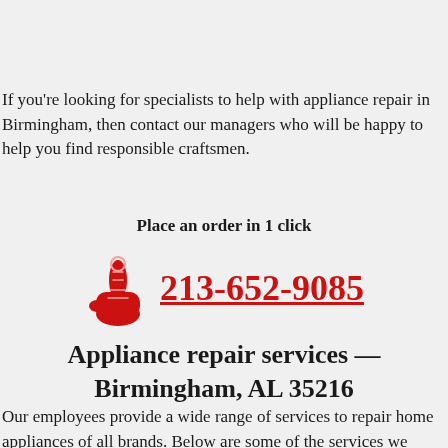If you're looking for specialists to help with appliance repair in Birmingham, then contact our managers who will be happy to help you find responsible craftsmen.
Place an order in 1 click
[Figure (illustration): Red hand/finger pointing icon]
213-652-9085
Appliance repair services — Birmingham, AL 35216
Our employees provide a wide range of services to repair home appliances of all brands. Below are some of the services we offer: